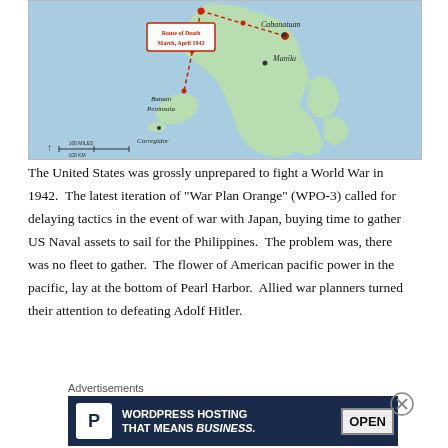[Figure (map): Map showing the Philippines region with Bataan Peninsula, Corregidor, Manila, Cabanatuan labeled. A dotted red line shows the Route of Death March, April 1942, with a red box label. The map has a scale bar at bottom left.]
The United States was grossly unprepared to fight a World War in 1942.  The latest iteration of "War Plan Orange" (WPO-3) called for delaying tactics in the event of war with Japan, buying time to gather US Naval assets to sail for the Philippines.  The problem was, there was no fleet to gather.  The flower of American pacific power in the pacific, lay at the bottom of Pearl Harbor.  Allied war planners turned their attention to defeating Adolf Hitler.
Advertisements
[Figure (screenshot): Advertisement banner: WordPress Hosting That Means Business. Dark navy background with white P icon, text and OPEN sign image on right.]